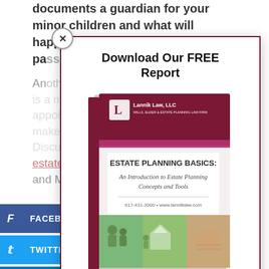documents a guardian for your minor children and what will happen to your assets after you pass away.
Another important document to consider is a medical power of attorney, which appoints an agent who is eligible to make medical decisions on your behalf. Discuss these options with an estate planning attorney in Newton, MA and Mashpee, MA to get started today.
Download Our FREE Report
[Figure (photo): Book cover for 'Estate Planning Basics: An Introduction to Estate Planning Concepts and Tools' by Lannik Law, LLC with photos of family, house, and person writing]
Facebook
Twitter
LinkedIn